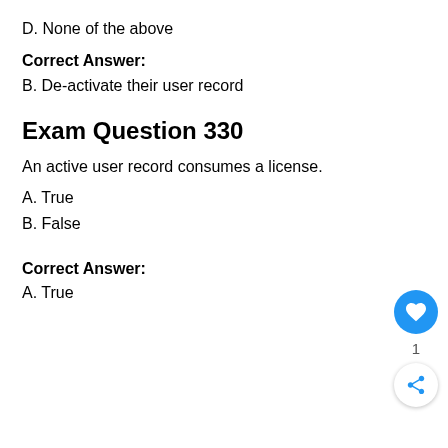D. None of the above
Correct Answer:
B. De-activate their user record
Exam Question 330
An active user record consumes a license.
A. True
B. False
Correct Answer:
A. True